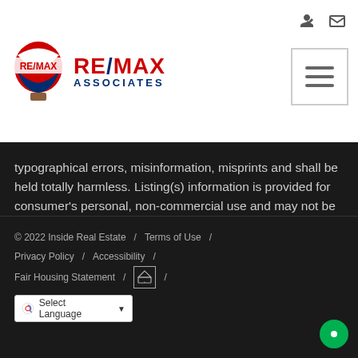[Figure (logo): RE/MAX Associates logo with hot-air balloon graphic and red/blue text]
typographical errors, misinformation, misprints and shall be held totally harmless. Listing(s) information is provided for consumer's personal, non-commercial use and may not be used for any purpose other than to identify prospective properties consumers may be   Show More...
© 2022 Inside Real Estate / Terms of Use / Privacy Policy / Accessibility / Fair Housing Statement / [Equal Housing Opportunity logo] / Select Language